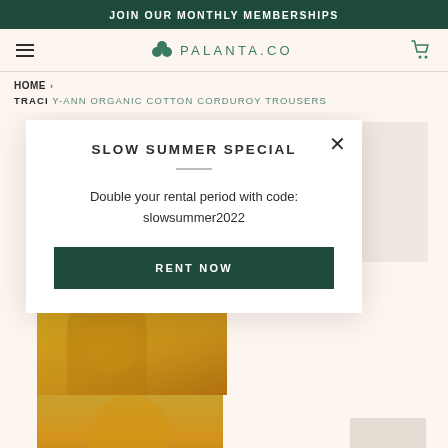JOIN OUR MONTHLY MEMBERSHIPS
[Figure (screenshot): PALANTA.CO website navigation bar with hamburger menu, logo with leaf icon, and cart icon]
HOME ›
TRACI Y-ANN ORGANIC COTTON CORDUROY TROUSERS
SLOW SUMMER SPECIAL
Double your rental period with code: slowsummer2022
RENT NOW
[Figure (photo): Person wearing yellow/mustard outfit (top and trousers), photographed in a bright studio setting]